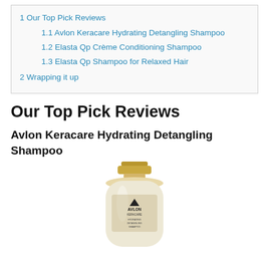1 Our Top Pick Reviews
1.1 Avlon Keracare Hydrating Detangling Shampoo
1.2 Elasta Qp Crème Conditioning Shampoo
1.3 Elasta Qp Shampoo for Relaxed Hair
2 Wrapping it up
Our Top Pick Reviews
Avlon Keracare Hydrating Detangling Shampoo
[Figure (photo): A shampoo bottle with gold cap and pearlescent white/gold body, Avlon Keracare branding, partially cropped at bottom of page.]